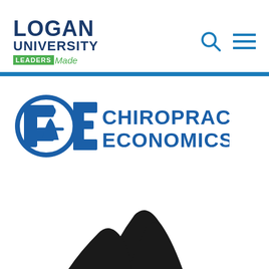[Figure (logo): Logan University logo with 'LEADERS Made' tagline]
[Figure (logo): Chiropractic Economics logo with CE icon]
[Figure (illustration): Partial black silhouette illustration visible at bottom of page]